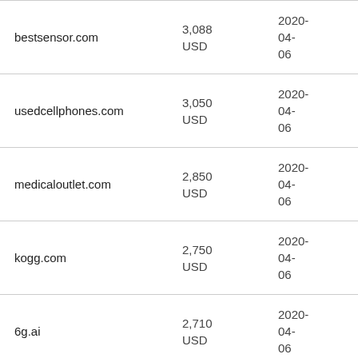| Domain | Price | Date | Venue |
| --- | --- | --- | --- |
| bestsensor.com | 3,088 USD | 2020-04-06 | BuyDom |
| usedcellphones.com | 3,050 USD | 2020-04-06 | GoDadd |
| medicaloutlet.com | 2,850 USD | 2020-04-06 | DropCa |
| kogg.com | 2,750 USD | 2020-04-06 | DropCa |
| 6g.ai | 2,710 USD | 2020-04-06 | Whois.a |